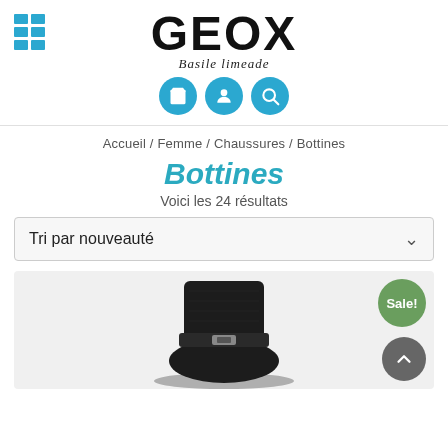[Figure (logo): GEOX brand logo with grid/list icon on left, 'Basile limeade' italic text below, and three teal circular icons (cart, person, search)]
Accueil / Femme / Chaussures / Bottines
Bottines
Voici les 24 résultats
Tri par nouveauté
[Figure (photo): Black leather boot with buckle detail on light grey background, with a green 'Sale!' badge and grey scroll-to-top button]